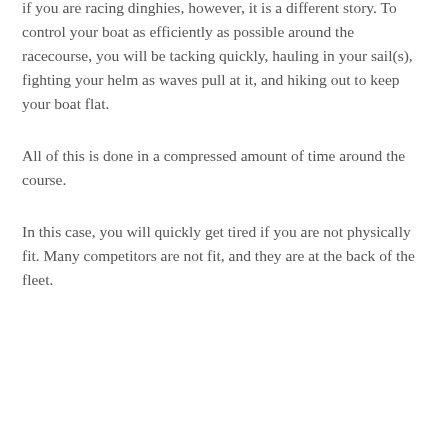if you are racing dinghies, however, it is a different story. To control your boat as efficiently as possible around the racecourse, you will be tacking quickly, hauling in your sail(s), fighting your helm as waves pull at it, and hiking out to keep your boat flat.
All of this is done in a compressed amount of time around the course.
In this case, you will quickly get tired if you are not physically fit. Many competitors are not fit, and they are at the back of the fleet.